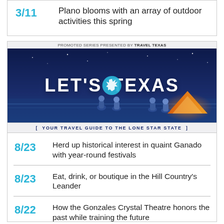3/11 Plano blooms with an array of outdoor activities this spring
[Figure (infographic): Travel Texas promoted series banner: LET'S TEXAS, Your Travel Guide to the Lone Star State]
8/23 Herd up historical interest in quaint Ganado with year-round festivals
8/23 Eat, drink, or boutique in the Hill Country's Leander
8/22 How the Gonzales Crystal Theatre honors the past while training the future
[Figure (infographic): Partial banner visible at bottom of page with gray photo area and yellow background with white text beginning with 'WHAT IS']